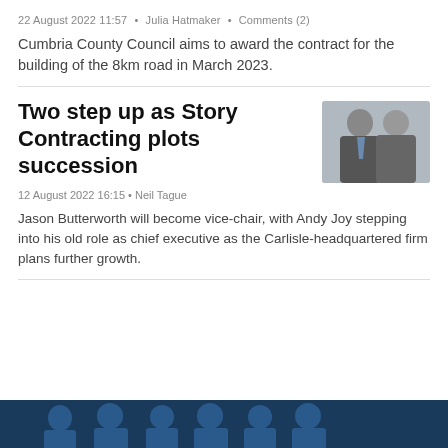22 August 2022 11:57 • Julia Hatmaker • Comments (2)
Cumbria County Council aims to award the contract for the building of the 8km road in March 2023.
Two step up as Story Contracting plots succession
[Figure (photo): Headshots of two men in suits]
12 August 2022 16:15 • Neil Tague
Jason Butterworth will become vice-chair, with Andy Joy stepping into his old role as chief executive as the Carlisle-headquartered firm plans further growth.
[Figure (photo): Dark blue banner image at the bottom with silhouettes of people]